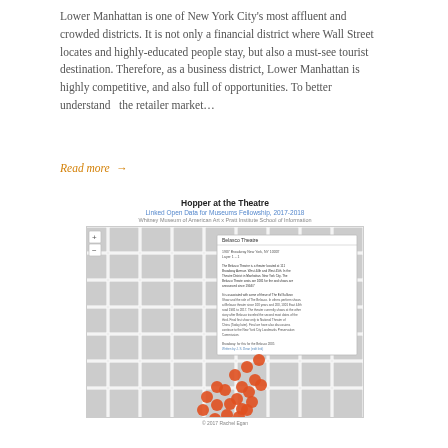Lower Manhattan is one of New York City's most affluent and crowded districts. It is not only a financial district where Wall Street locates and highly-educated people stay, but also a must-see tourist destination. Therefore, as a business district, Lower Manhattan is highly competitive, and also full of opportunities. To better understand  the retailer market…
Read more →
[Figure (map): Map titled 'Hopper at the Theatre', Linked Open Data for Museums Fellowship, 2017-2018, Whitney Museum of American Art x Pratt Institute School of Information. Shows a street map with orange circle markers clustered in what appears to be a Manhattan neighborhood, with a popup info box visible on the map.]
© 2017 Rachel Egan